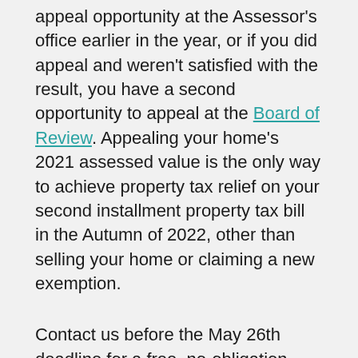appeal opportunity at the Assessor's office earlier in the year, or if you did appeal and weren't satisfied with the result, you have a second opportunity to appeal at the Board of Review. Appealing your home's 2021 assessed value is the only way to achieve property tax relief on your second installment property tax bill in the Autumn of 2022, other than selling your home or claiming a new exemption.
Contact us before the May 26th deadline for a free, no-obligation, and professional analysis of your home's assessment level compared to similar properties in your neighborhood. We'll tell you if we don't think you have a strong case for an appeal. If we feel there is a solid factual-based argument to be made, then you can choose if you would like to hire us to assist you with the appeal. There is no risk in using our service because you pay nothing unless your appeal is successful.